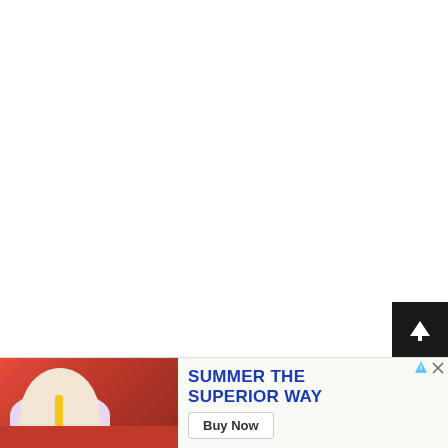[Figure (other): Blank white page area — main content area is empty/white]
[Figure (other): Scroll-to-top button — black square with white upward arrow, positioned above ad banner at bottom right]
[Figure (other): Advertisement banner at bottom of page. Left side shows a photo of a person at a table with a beer bottle. Right side has blue bold text 'SUMMER THE SUPERIOR WAY' and a 'Buy Now' button. AdChoices icon and close (X) button visible at top right of ad.]